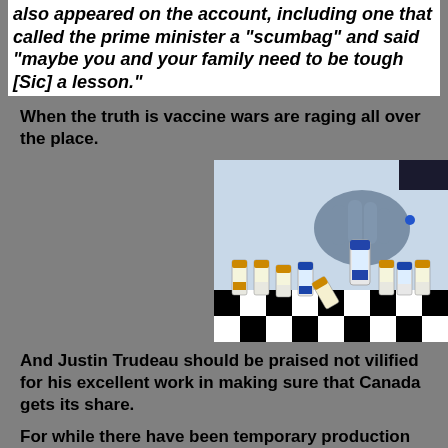Anti-immigrant, anti-Muslim and anti-Trudeau posts also appeared on the account, including one that called the prime minister a “scumbag” and said “maybe you and your family need to be tough [Sic] a lesson.”
When the truth is vaccine wars are raging all over the place.
[Figure (illustration): Illustration of a hand (wearing a blue glove) picking up a vaccine vial from a chessboard arrangement of multiple vaccine vials with orange and blue caps]
And Justin Trudeau should be praised not vilified for his excellent work in making sure that Canada gets its share.
For while there have been temporary production problems with the Pfizer and Moderna vaccines, three